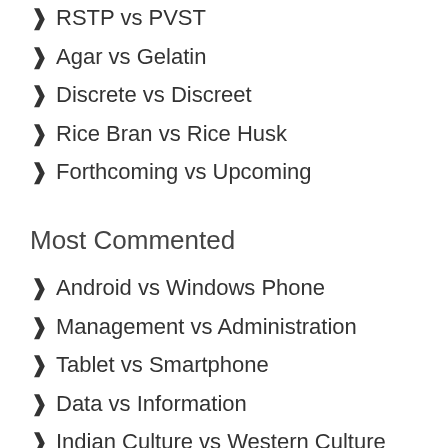RSTP vs PVST
Agar vs Gelatin
Discrete vs Discreet
Rice Bran vs Rice Husk
Forthcoming vs Upcoming
Most Commented
Android vs Windows Phone
Management vs Administration
Tablet vs Smartphone
Data vs Information
Indian Culture vs Western Culture
Joint Family vs Nuclear Family
Yoghurt vs Curd
MPhil vs Ph.D.